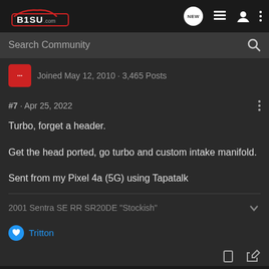B1SU.com
Search Community
Joined May 12, 2010 · 3,465 Posts
#7 · Apr 25, 2022
Turbo, forget a header.

Get the head ported, go turbo and custom intake manifold.

Sent from my Pixel 4a (5G) using Tapatalk
2001 Sentra SE RR SR20DE "Stockish"
Tritton